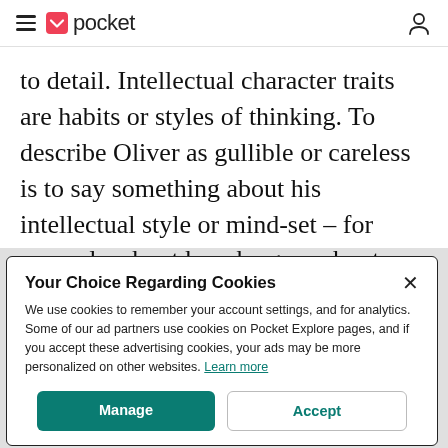pocket
to detail. Intellectual character traits are habits or styles of thinking. To describe Oliver as gullible or careless is to say something about his intellectual style or mind-set – for example, about how he goes about trying to find out things about events
Your Choice Regarding Cookies
We use cookies to remember your account settings, and for analytics. Some of our ad partners use cookies on Pocket Explore pages, and if you accept these advertising cookies, your ads may be more personalized on other websites. Learn more
Manage
Accept